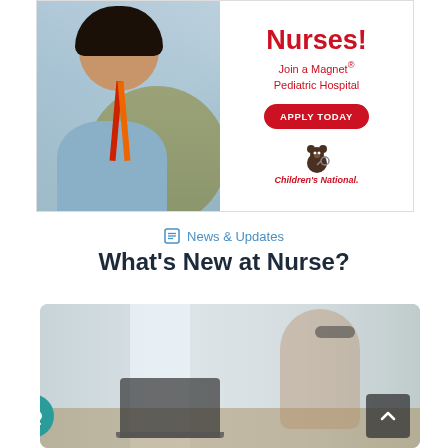[Figure (photo): Advertisement banner for Children's National hospital featuring a smiling nurse in blue scrubs with a red/orange lanyard, a yellow circle behind her on the left, and text on the right: 'Nurses! Join a Magnet® Pediatric Hospital' with an 'APPLY TODAY' red button and Children's National bear logo.]
News & Updates
What's New at Nurse?
[Figure (photo): Photo of a Black woman wearing glasses and a white sweater, sitting at a desk working on a laptop in a bright indoor setting. A dark scroll-to-top button with an upward chevron is overlaid in the lower right. A teal circular eye/visibility icon button is in the lower left corner.]